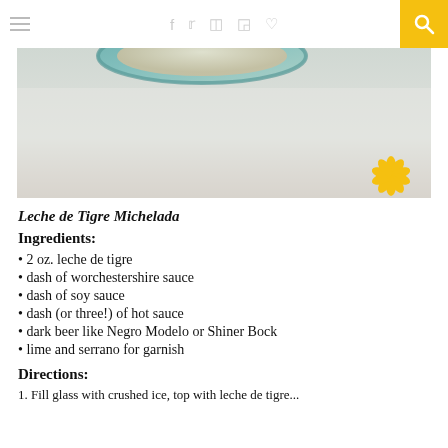≡  f  𝕏  📷  Pinterest  ♡  🔍
[Figure (photo): Close-up photo of a drink in a glass with a teal/turquoise rim, placed on a white surface, with a yellow flower visible at bottom right corner]
Leche de Tigre Michelada
Ingredients:
2 oz. leche de tigre
dash of worchestershire sauce
dash of soy sauce
dash (or three!) of hot sauce
dark beer like Negro Modelo or Shiner Bock
lime and serrano for garnish
Directions:
1. Fill glass with crushed ice, top with leche de tigre...